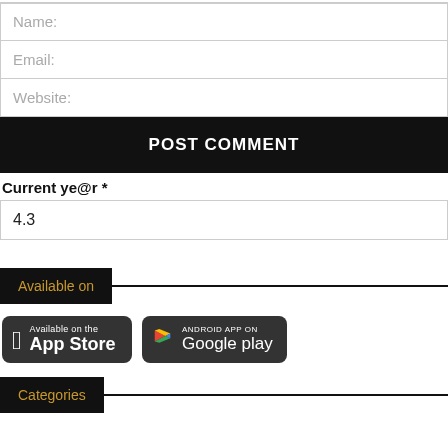Name:
Email:
Website:
POST COMMENT
Current ye@r *
4.3
Available on
[Figure (other): App Store badge - Available on the App Store]
[Figure (other): Google Play badge - Android App on Google play]
Categories